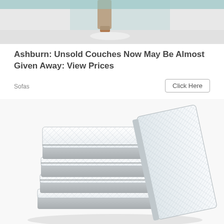[Figure (photo): Partial photo of a sofa/couch leg and base, cropped at top of page]
Ashburn: Unsold Couches Now May Be Almost Given Away: View Prices
Sofas
Click Here
[Figure (photo): Stack of four white quilted mattresses piled on top of each other, with one mattress leaning against the stack at an angle, on a white background]